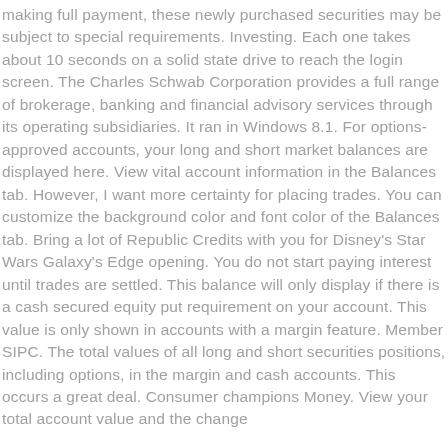making full payment, these newly purchased securities may be subject to special requirements. Investing. Each one takes about 10 seconds on a solid state drive to reach the login screen. The Charles Schwab Corporation provides a full range of brokerage, banking and financial advisory services through its operating subsidiaries. It ran in Windows 8.1. For options-approved accounts, your long and short market balances are displayed here. View vital account information in the Balances tab. However, I want more certainty for placing trades. You can customize the background color and font color of the Balances tab. Bring a lot of Republic Credits with you for Disney's Star Wars Galaxy's Edge opening. You do not start paying interest until trades are settled. This balance will only display if there is a cash secured equity put requirement on your account. This value is only shown in accounts with a margin feature. Member SIPC. The total values of all long and short securities positions, including options, in the margin and cash accounts. This occurs a great deal. Consumer champions Money. View your total account value and the change